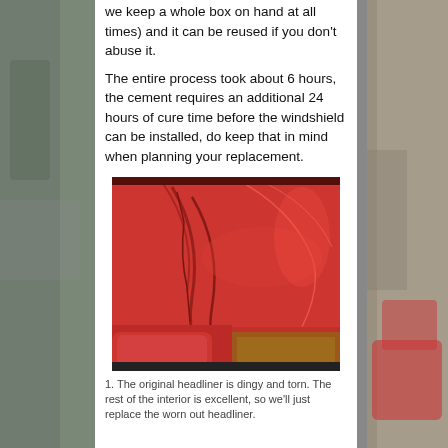we keep a whole box on hand at all times) and it can be reused if you don't abuse it.
The entire process took about 6 hours, the cement requires an additional 24 hours of cure time before the windshield can be installed, do keep that in mind when planning your replacement.
[Figure (photo): Interior view of a classic car showing the red headliner area, which appears dingy and torn, with red leather seating visible below.]
1. The original headliner is dingy and torn. The rest of the interior is excellent, so we'll just replace the worn out headliner.